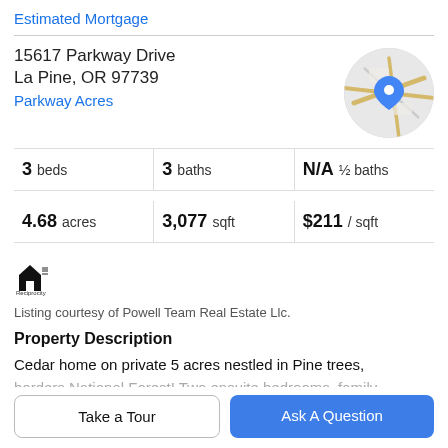Estimated Mortgage
15617 Parkway Drive
La Pine, OR 97739
Parkway Acres
[Figure (map): Circular map thumbnail showing street map with a blue location pin marker]
3 beds | 3 baths | N/A ½ baths
4.68 acres | 3,077 sqft | $211 / sqft
[Figure (logo): Small house/real estate logo icon with text 'Reciprocity']
Listing courtesy of Powell Team Real Estate Llc.
Property Description
Cedar home on private 5 acres nestled in Pine trees,
borders National Forest! Two ensuite bedrooms, family
Take a Tour
Ask A Question